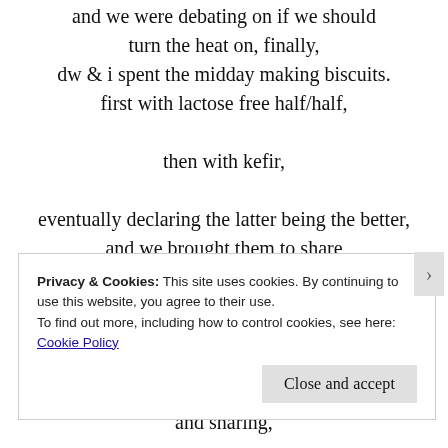and we were debating on if we should turn the heat on, finally, dw & i spent the midday making biscuits. first with lactose free half/half, then with kefir, eventually declaring the latter being the better, and we brought them to share for a pre-holiday gathering, because, it being the season of giving and sharing, a time when we need both so deeply
Privacy & Cookies: This site uses cookies. By continuing to use this website, you agree to their use. To find out more, including how to control cookies, see here: Cookie Policy
Close and accept